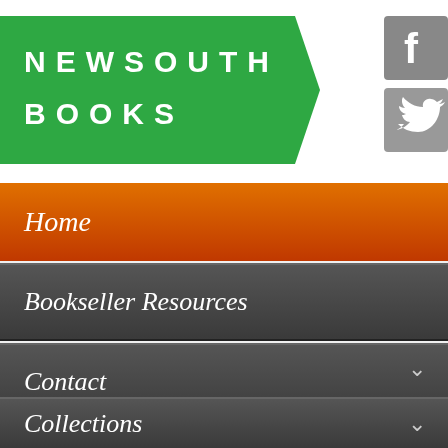[Figure (logo): NewSouth Books green arrow-shaped logo banner with white bold spaced text]
[Figure (logo): Facebook icon - grey square with white F]
[Figure (logo): Twitter/bird icon - grey square with white bird]
Home
Bookseller Resources
Contact
Collections
Search
The Photographer's Guide to